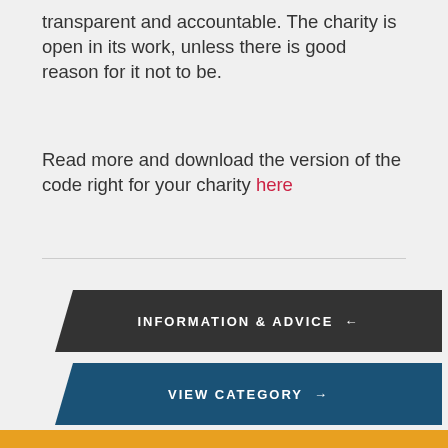transparent and accountable. The charity is open in its work, unless there is good reason for it not to be.
Read more and download the version of the code right for your charity here
INFORMATION & ADVICE ←
VIEW CATEGORY →